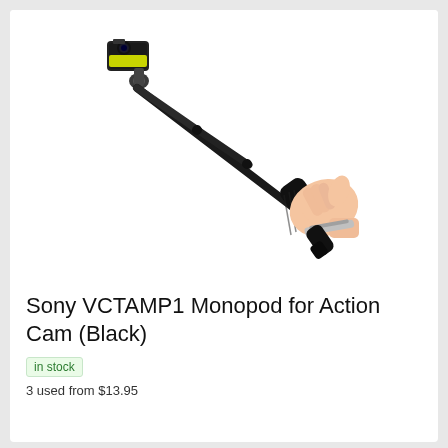[Figure (photo): A Sony VCTAMP1 monopod (selfie stick) extended diagonally, with a Sony action camera mounted at the top left and a hand gripping the black handle at the bottom right. The hand has a wrist strap. The product is shown against a white background.]
Sony VCTAMP1 Monopod for Action Cam (Black)
in stock
3 used from $13.95